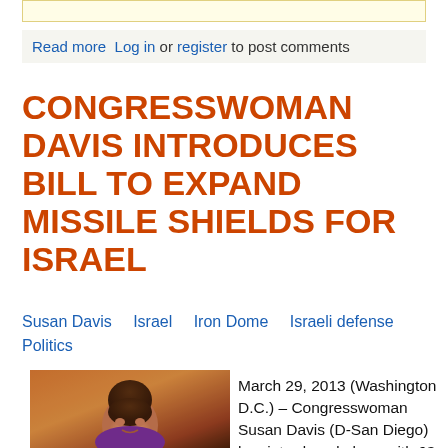Read more  Log in or register to post comments
CONGRESSWOMAN DAVIS INTRODUCES BILL TO EXPAND MISSILE SHIELDS FOR ISRAEL
Susan Davis   Israel   Iron Dome   Israeli defense   Politics
[Figure (photo): Photo of a woman smiling, standing in a room with warm orange/brown tones]
March 29, 2013 (Washington D.C.) – Congresswoman Susan Davis (D-San Diego) has introduced along with 63 bipartisan cosponsors H.R. 1130, the Iron Dome Support Act.  Iron